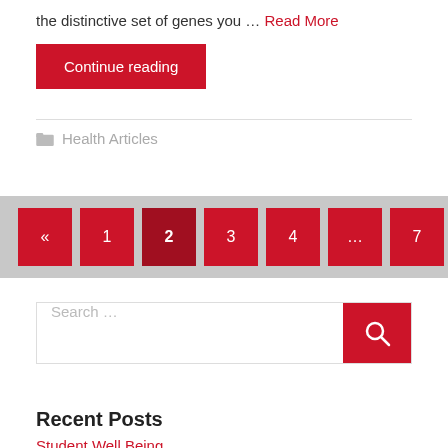the distinctive set of genes you … Read More
Continue reading
Health Articles
« 1 2 3 4 … 7 »
Search …
Recent Posts
Student Well Being